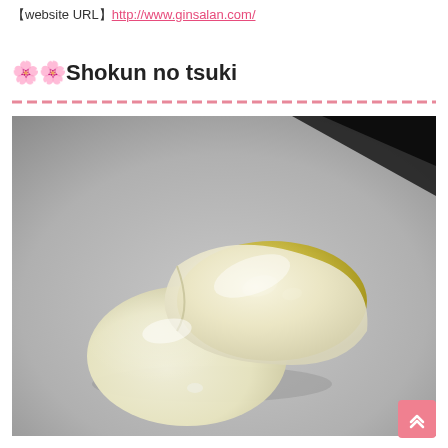【website URL】http://www.ginsalan.com/
🌸🌸Shokun no tsuki
[Figure (photo): A Japanese wagashi sweet (mochi) shown cut open to reveal a golden/yellow filling, placed on gray parchment paper. The outer layer is pale white/cream colored.]